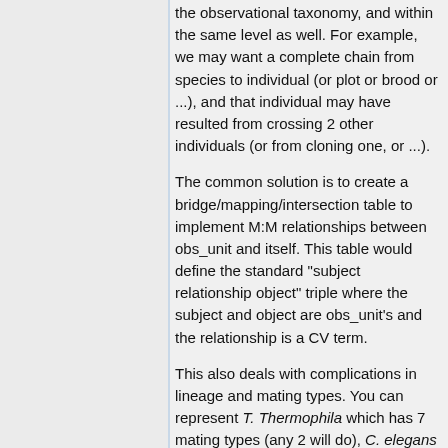the observational taxonomy, and within the same level as well. For example, we may want a complete chain from species to individual (or plot or brood or ...), and that individual may have resulted from crossing 2 other individuals (or from cloning one, or ...).
The common solution is to create a bridge/mapping/intersection table to implement M:M relationships between obs_unit and itself. This table would define the standard "subject relationship object" triple where the subject and object are obs_unit's and the relationship is a CV term.
This also deals with complications in lineage and mating types. You can represent T. Thermophila which has 7 mating types (any 2 will do), C. elegans which has hermaphrodites and